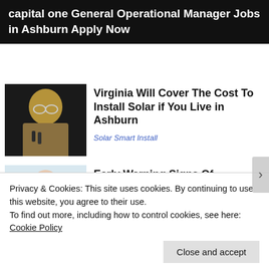capital one General Operational Manager Jobs in Ashburn Apply Now
Virginia Will Cover The Cost To Install Solar if You Live in Ashburn
Solar Smart Install
Early Warning Signs Of Metastatic Breast Cancer That Might Surprise You
Privacy & Cookies: This site uses cookies. By continuing to use this website, you agree to their use.
To find out more, including how to control cookies, see here: Cookie Policy
Close and accept